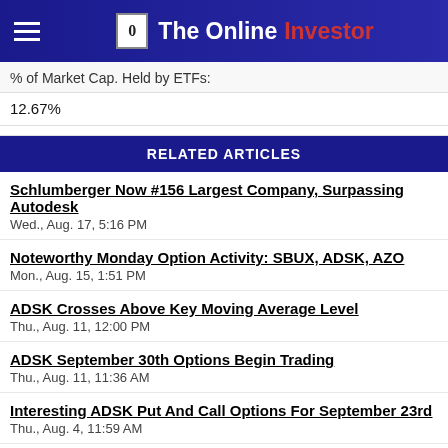The Online Investor
% of Market Cap. Held by ETFs:
12.67%
RELATED ARTICLES
Schlumberger Now #156 Largest Company, Surpassing Autodesk
Wed., Aug. 17, 5:16 PM
Noteworthy Monday Option Activity: SBUX, ADSK, AZO
Mon., Aug. 15, 1:51 PM
ADSK Crosses Above Key Moving Average Level
Thu., Aug. 11, 12:00 PM
ADSK September 30th Options Begin Trading
Thu., Aug. 11, 11:36 AM
Interesting ADSK Put And Call Options For September 23rd
Thu., Aug. 4, 11:59 AM
Noteworthy Tuesday Option Activity: HSY, ADSK, TMO
Tue., Aug. 2, 1:27 PM